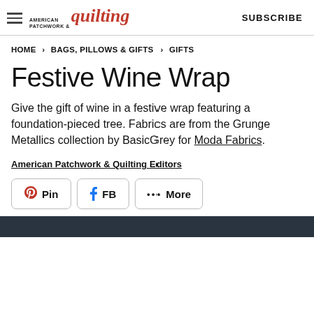AMERICAN PATCHWORK & quilting | SUBSCRIBE
HOME > BAGS, PILLOWS & GIFTS > GIFTS
Festive Wine Wrap
Give the gift of wine in a festive wrap featuring a foundation-pieced tree. Fabrics are from the Grunge Metallics collection by BasicGrey for Moda Fabrics.
American Patchwork & Quilting Editors
Pin | FB | ••• More
[Figure (photo): Dark teal/navy bottom strip of an article page image]